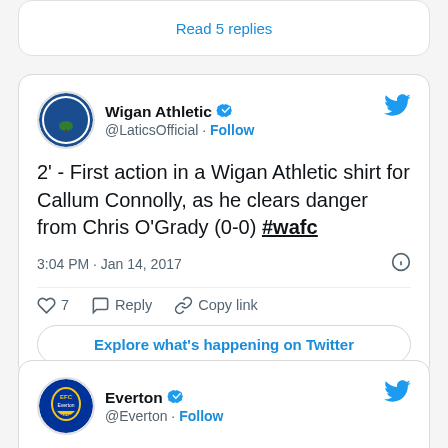Read 5 replies
[Figure (screenshot): Wigan Athletic tweet card: '2' - First action in a Wigan Athletic shirt for Callum Connolly, as he clears danger from Chris O'Grady (0-0) #wafc', posted 3:04 PM · Jan 14, 2017, with 7 likes, Reply, Copy link actions and Explore what's happening on Twitter button.]
[Figure (screenshot): Everton tweet card header: Everton @Everton · Follow]